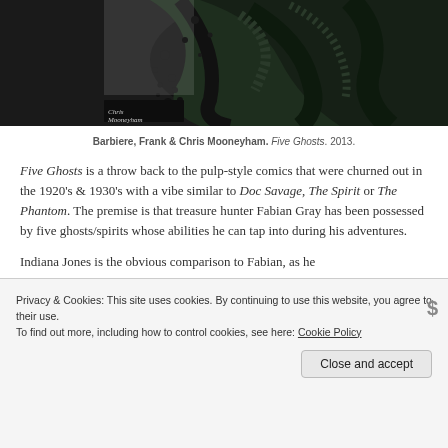[Figure (illustration): Black and white ink illustration showing dark tentacle-like or creature forms with an artist signature reading 'Chris Mooneyham' in the lower left corner.]
Barbiere, Frank & Chris Mooneyham. Five Ghosts. 2013.
Five Ghosts is a throw back to the pulp-style comics that were churned out in the 1920's & 1930's with a vibe similar to Doc Savage, The Spirit or The Phantom. The premise is that treasure hunter Fabian Gray has been possessed by five ghosts/spirits whose abilities he can tap into during his adventures.
Indiana Jones is the obvious comparison to Fabian, as he
Privacy & Cookies: This site uses cookies. By continuing to use this website, you agree to their use.
To find out more, including how to control cookies, see here: Cookie Policy